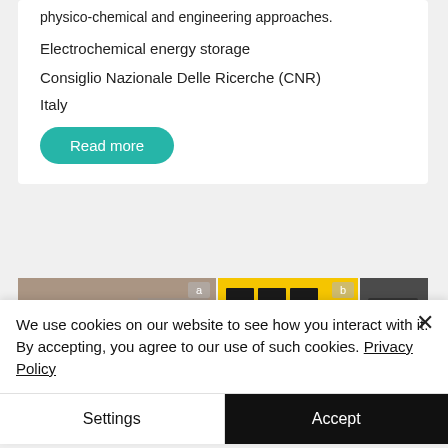physico-chemical and engineering approaches.
Electrochemical energy storage
Consiglio Nazionale Delle Ricerche (CNR)
Italy
Read more
[Figure (photo): Three panel photo showing (a) laboratory equipment with containers and tubing, (b) yellow rack holding multiple black rectangular battery cells, and (c) a device with red and black electrical cables attached.]
We use cookies on our website to see how you interact with it. By accepting, you agree to our use of such cookies. Privacy Policy
Settings
Accept